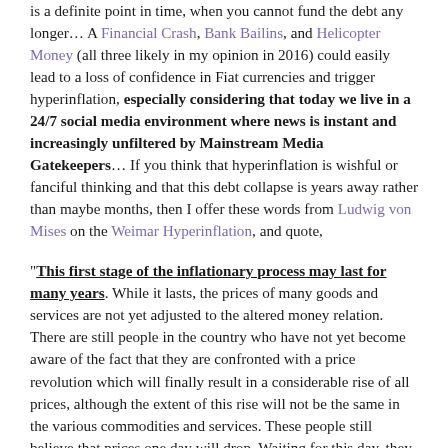is a definite point in time, when you cannot fund the debt any longer… A Financial Crash, Bank Bailins, and Helicopter Money (all three likely in my opinion in 2016) could easily lead to a loss of confidence in Fiat currencies and trigger hyperinflation, especially considering that today we live in a 24/7 social media environment where news is instant and increasingly unfiltered by Mainstream Media Gatekeepers… If you think that hyperinflation is wishful or fanciful thinking and that this debt collapse is years away rather than maybe months, then I offer these words from Ludwig von Mises on the Weimar Hyperinflation, and quote,
“This first stage of the inflationary process may last for many years. While it lasts, the prices of many goods and services are not yet adjusted to the altered money relation. There are still people in the country who have not yet become aware of the fact that they are confronted with a price revolution which will finally result in a considerable rise of all prices, although the extent of this rise will not be the same in the various commodities and services. These people still believe that prices one day will drop. Waiting for this day, they restrict their purchases and concomitantly increase their cash holdings. As long as such ideas are still held by public opinion, it is not yet too late for the government to abandon its inflationary policy.”